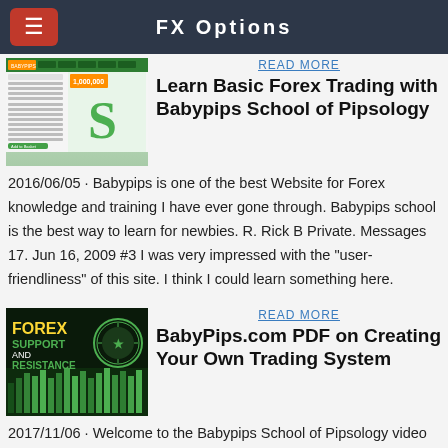FX Options
READ MORE
Learn Basic Forex Trading with Babypips School of Pipsology
2016/06/05 · Babypips is one of the best Website for Forex knowledge and training I have ever gone through. Babypips school is the best way to learn for newbies. R. Rick B Private. Messages 17. Jun 16, 2009 #3 I was very impressed with the "user-friendliness" of this site. I think I could learn something here.
READ MORE
BabyPips.com PDF on Creating Your Own Trading System
2017/11/06 · Welcome to the Babypips School of Pipsology video series. This series is to help new traders visualise the babypips